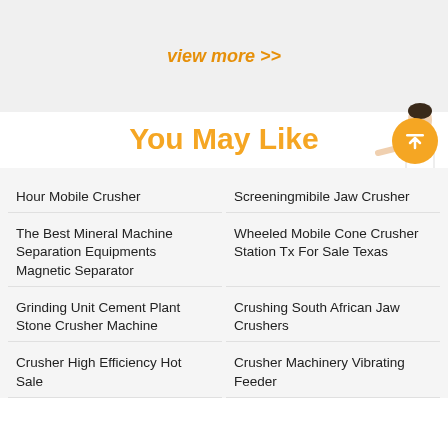view more >>
You May Like
[Figure (illustration): Customer service assistant figure and Free chat button]
Hour Mobile Crusher
Screeningmibile Jaw Crusher
The Best Mineral Machine Separation Equipments Magnetic Separator
Wheeled Mobile Cone Crusher Station Tx For Sale Texas
Grinding Unit Cement Plant Stone Crusher Machine
Crushing South African Jaw Crushers
Crusher High Efficiency Hot Sale
Crusher Machinery Vibrating Feeder